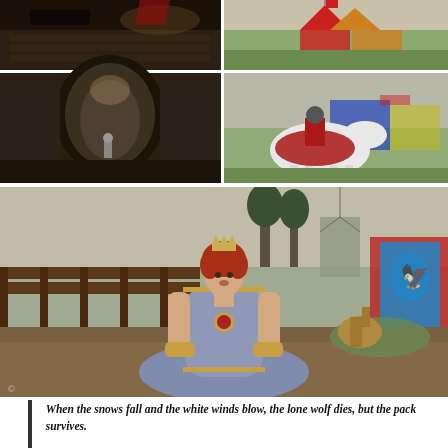[Figure (photo): Grid of video game screenshots: top-left shows a dark train or docks scene, top-right shows a medieval tent/camp with red cloth, mid-left shows a stone corridor with a small knight figure, mid-right shows a knight on a decorated white horse with colorful tents, large bottom shows a female character in a blue medieval gown with red hair and crown standing in a village/fair setting.]
When the snows fall and the white winds blow, the lone wolf dies, but the pack survives.